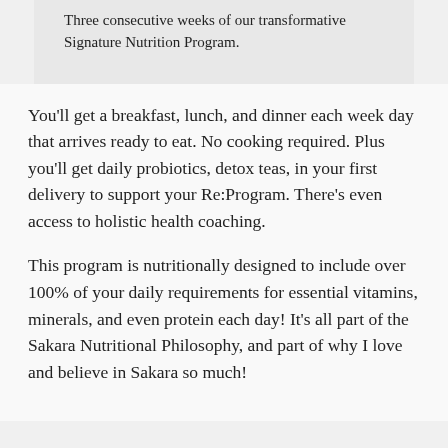Three consecutive weeks of our transformative Signature Nutrition Program.
You'll get a breakfast, lunch, and dinner each week day that arrives ready to eat. No cooking required. Plus you'll get daily probiotics, detox teas, in your first delivery to support your Re:Program. There's even access to holistic health coaching.
This program is nutritionally designed to include over 100% of your daily requirements for essential vitamins, minerals, and even protein each day! It's all part of the Sakara Nutritional Philosophy, and part of why I love and believe in Sakara so much!